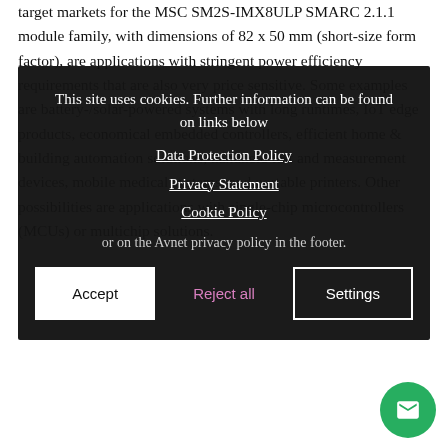target markets for the MSC SM2S-IMX8ULP SMARC 2.1.1 module family, with dimensions of 82 x 50 mm (short-size form factor), are applications with stringent power efficiency requirements that are also very price sensitive. Some examples are battery-/solar-powered systems with long runtimes, IoT edge products, economical embedded controllers, efficient home & building automation solutions, handheld test and measurement devices, mobile medical systems, and portable printers. Other possibilities are applications with single-chip microcontrollers (MCUs) or multichip solutions.
[Figure (screenshot): Cookie consent overlay with dark background. Shows 'This site uses cookies. Further information can be found on links below', links for Data Protection Policy, Privacy Statement, Cookie Policy, and note about Avnet privacy policy in footer. Three buttons: Accept (white), Reject all (pink text), Settings (outlined).]
Avnet Embedded develops its broad SMARC module portfolio in company-owned design centers and manufactures the products in its highly automated production facilities.
Tim Jensen, Senior Director Product Innovation, Avnet Embedded, said: “The MSC SM2S-IMX8ULP is the latest addition to our world-class range of modules which already ranks in the most expansive and versatile in the world. An